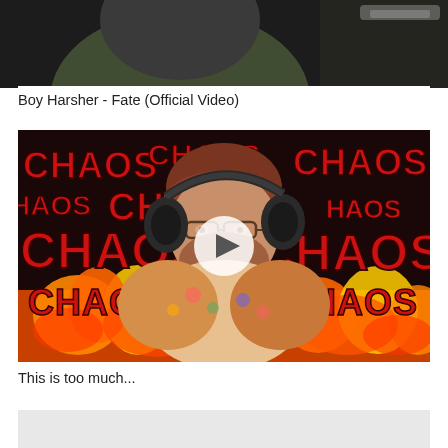[Figure (screenshot): Top portion of a dark video thumbnail showing a hooded figure in dark/grey tones — Boy Harsher Fate official video]
Boy Harsher - Fate (Official Video)
[Figure (screenshot): YouTube video thumbnail showing a man wearing headphones and a red beanie, with a floral shirt, surrounded by red 'CHAOS' text on a dark background with flames at the bottom. A white circular play button is centered on the image.]
This is too much...
[Figure (screenshot): Partial view of another content item below, showing only a light grey/white background area]